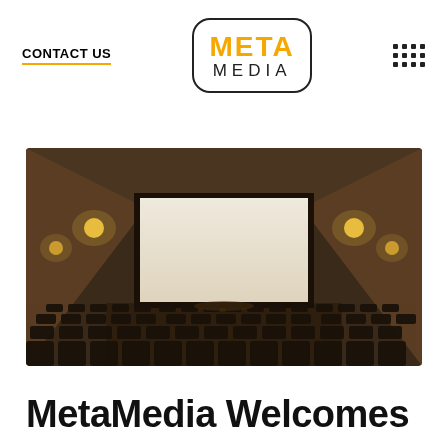CONTACT US
[Figure (logo): MetaMedia logo — rounded rectangle border with orange bold META text and gray MEDIA text below]
[Figure (other): 3x4 grid of square dots icon]
[Figure (photo): Interior of a movie theater showing rows of dark seats facing a large illuminated white screen, warm brown walls with wall sconces lighting]
MetaMedia Welcomes